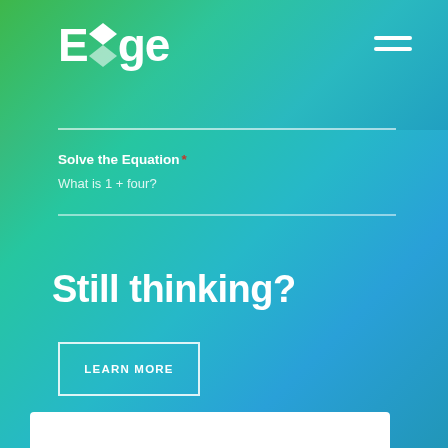[Figure (logo): Edge logo with geometric diamond shape replacing the 'd', white text on gradient background]
Solve the Equation *
What is 1 + four?
Still thinking?
LEARN MORE